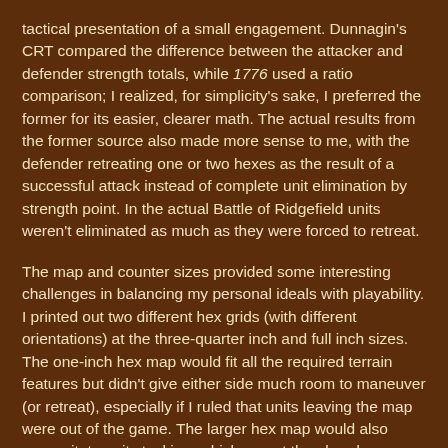tactical presentation of a small engagement. Dunnagin's CRT compared the difference between the attacker and defender strength totals, while 1776 used a ratio comparison; I realized, for simplicity's sake, I preferred the former for its easier, clearer math. The actual results from the former source also made more sense to me, with the defender retreating one or two hexes as the result of a successful attack instead of complete unit elimination by strength point. In the actual Battle of Ridgefield units weren't eliminated as much as they were forced to retreat.
The map and counter sizes provided some interesting challenges in balancing my personal ideals with playability. I printed out two different hex grids (with different orientations) at the three-quarter inch and full inch sizes. The one-inch hex map would fit all the required terrain features but didn't give either side much room to maneuver (or retreat), especially if I ruled that units leaving the map were out of the game. The larger hex map would also necessitate unit stacking, which meant the already more powerful British regiments could team up in ranged and close combat and really slam into the Patriots. I compromised and chose a